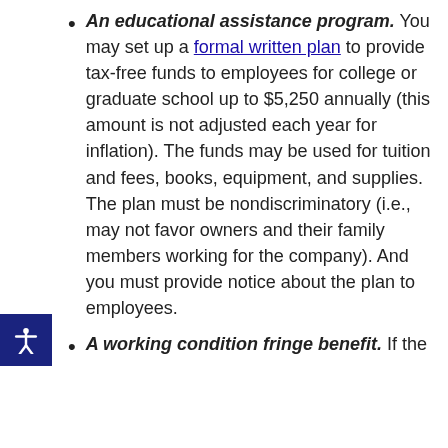An educational assistance program. You may set up a formal written plan to provide tax-free funds to employees for college or graduate school up to $5,250 annually (this amount is not adjusted each year for inflation). The funds may be used for tuition and fees, books, equipment, and supplies. The plan must be nondiscriminatory (i.e., may not favor owners and their family members working for the company). And you must provide notice about the plan to employees.
A working condition fringe benefit. If the